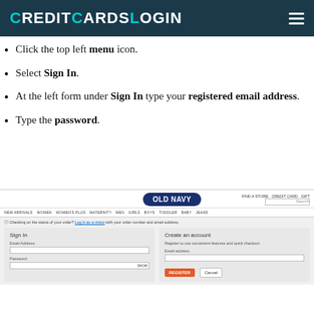CreditCardsLogin
Click the top left menu icon.
Select Sign In.
At the left form under Sign In type your registered email address.
Type the password.
[Figure (screenshot): Old Navy website screenshot showing the Sign In and Create an Account forms, with navigation bar and order status note.]